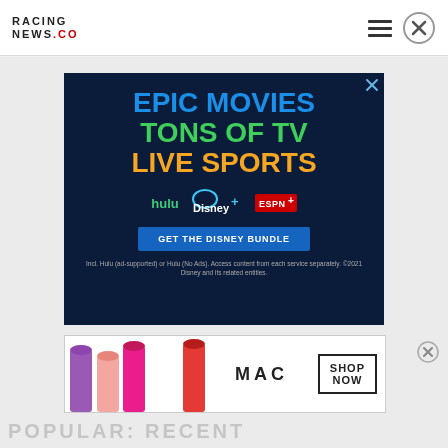RACING NEWS .CO
[Figure (advertisement): Disney Bundle advertisement with dark navy background. Text reads: EPIC MOVIES (blue), TONS OF TV (green), LIVE SPORTS (yellow/orange). Logos for hulu, Disney+, ESPN+. Button: GET THE DISNEY BUNDLE. Fine print: Incl. Hulu (ad-supported) or Hulu (No Ads). Access content from each service separately. ©2021 Disney and its related entities.]
[Figure (advertisement): MAC cosmetics advertisement showing lipsticks in purple, pink, and red shades. MAC logo and SHOP NOW button.]
POPULAR: RECENT